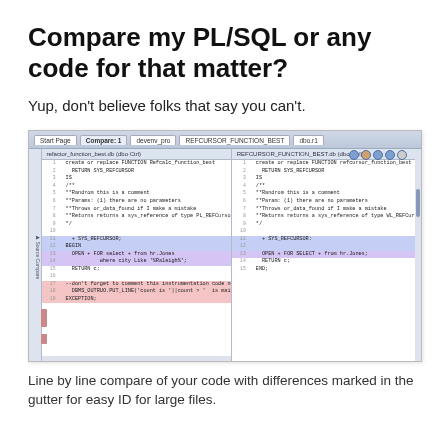Compare my PL/SQL or any code for that matter?
Yup, don't believe folks that say you can't.
[Figure (screenshot): IDE screenshot showing a side-by-side code comparison view with two panels. Left panel shows refactor_function_best.db code, right panel shows REFCURSOR_FUNCTION_BEST.db code. Lines are highlighted in blue/purple for differences and pink/red for deletions. The compare view shows PL/SQL code with line numbers and a gutter indicating changes.]
Line by line compare of your code with differences marked in the gutter for easy ID for large files.